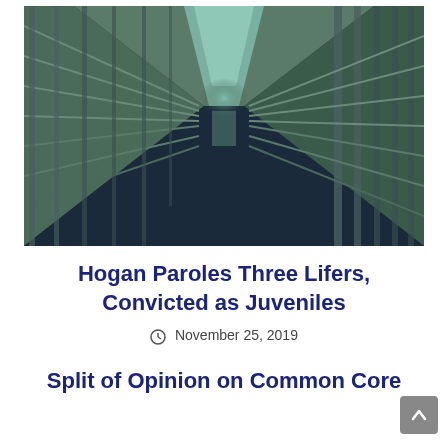[Figure (photo): Interior hallway of a prison with green-painted metal bars on both sides extending into the distance, dimly lit with blue-green lighting]
Hogan Paroles Three Lifers, Convicted as Juveniles
November 25, 2019
Split of Opinion on Common Core